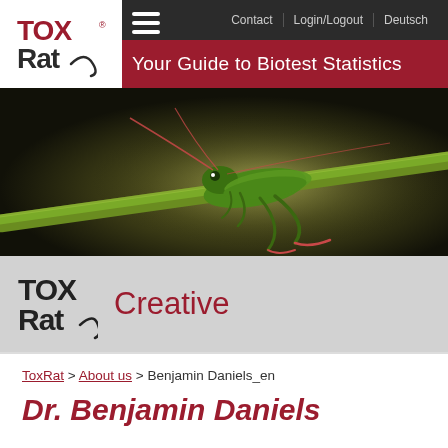ToxRat | Contact | Login/Logout | Deutsch
Your Guide to Biotest Statistics
[Figure (photo): Close-up macro photograph of a green grasshopper/katydid insect clinging to a green plant stem, against a dark blurred background.]
[Figure (logo): ToxRat logo — stylized TOX Rat text in dark/black with rat tail motif — displayed in gray section bar alongside the word Creative in dark red.]
Creative
ToxRat > About us > Benjamin Daniels_en
Dr. Benjamin Daniels